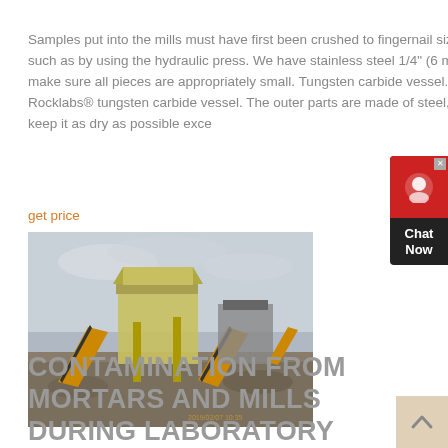Samples put into the mills must have first been crushed to fingernail size or smaller, such as by using the hydraulic press. We have stainless steel 1/4" (6 mm) sieves to help make sure all pieces are appropriately small. Tungsten carbide vessel. This is our Rocklabs® tungsten carbide vessel. The outer parts are made of steel, which rusts, so keep it as dry as possible exce...
get price
[Figure (photo): Mining equipment / crushing plant with orange conveyor belts and machinery on a gravel site under cloudy sky]
CONTAMINATION FROM MORTARS AND MILLS DURING LABORATORY